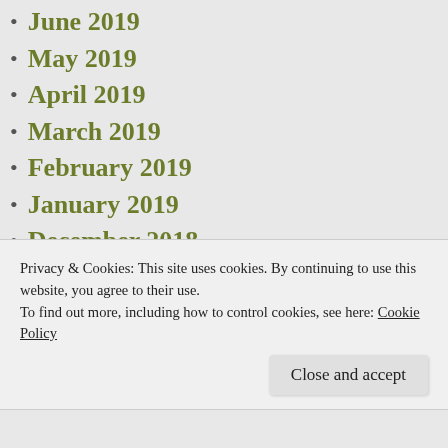June 2019
May 2019
April 2019
March 2019
February 2019
January 2019
December 2018
November 2018
October 2018
September 2018
August 2018
Privacy & Cookies: This site uses cookies. By continuing to use this website, you agree to their use.
To find out more, including how to control cookies, see here: Cookie Policy
Close and accept